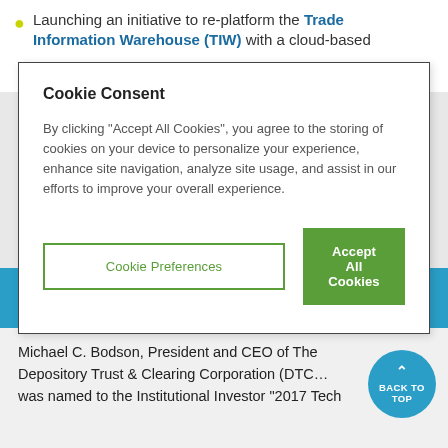Launching an initiative to re-platform the Trade Information Warehouse (TIW) with a cloud-based
Cookie Consent
By clicking “Accept All Cookies”, you agree to the storing of cookies on your device to personalize your experience, enhance site navigation, analyze site usage, and assist in our efforts to improve your overall experience.
Cookie Preferences
Accept All Cookies
RELATED CONTENT
Michael C. Bodson, President and CEO of The Depository Trust & Clearing Corporation (DTC… was named to the Institutional Investor “2017 Tech
BACK TO TOP